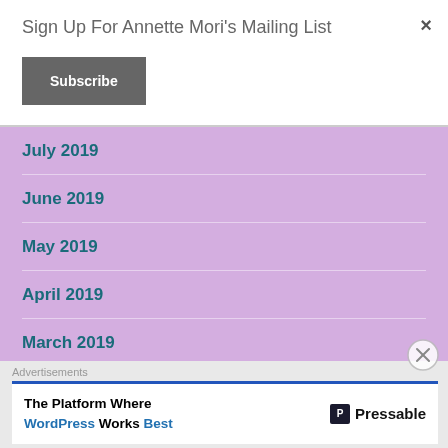Sign Up For Annette Mori's Mailing List
×
Subscribe
July 2019
June 2019
May 2019
April 2019
March 2019
February 2019
Advertisements
The Platform Where WordPress Works Best    P Pressable